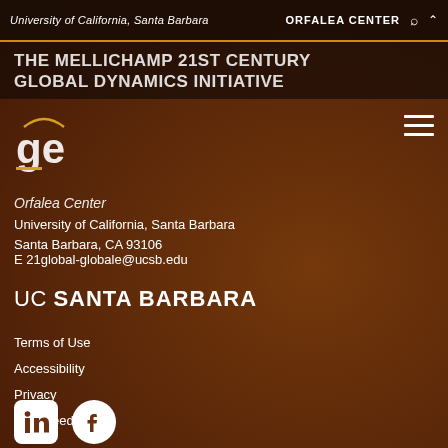University of California, Santa Barbara  ORFALEA CENTER
THE MELLICHAMP 21ST CENTURY GLOBAL DYNAMICS INITIATIVE
[Figure (logo): Global-e logo with stylized 'ge' letters and curved arc above, with gold underline]
Orfalea Center
University of California, Santa Barbara
Santa Barbara, CA 93106
E 21global-globale@ucsb.edu
[Figure (logo): UC SANTA BARBARA wordmark in white]
Terms of Use
Accessibility
Privacy
Web Feedback
[Figure (logo): LinkedIn and Facebook social media icons in white circles/squares]